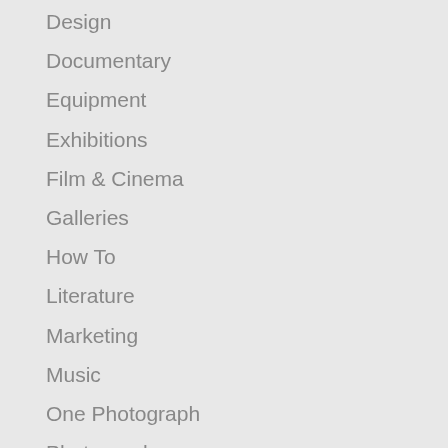Design
Documentary
Equipment
Exhibitions
Film & Cinema
Galleries
How To
Literature
Marketing
Music
One Photograph
Photography
Schools
Sculpture
Stock